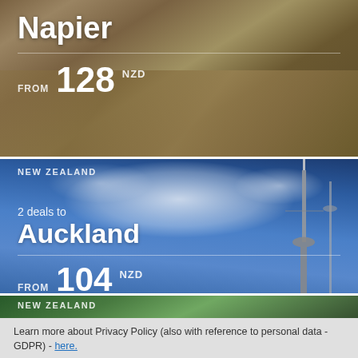[Figure (photo): Aerial photo of Napier, New Zealand showing mountain terrain with earthy brown tones. Shows city name 'Napier' and price 'FROM 128 NZD']
[Figure (photo): Photo of Auckland, New Zealand skyline with blue sky and clouds, featuring the Sky Tower. Shows '2 deals to Auckland' and price 'FROM 104 NZD']
[Figure (photo): Partial photo of New Zealand landscape with green hills]
Learn more about Privacy Policy (also with reference to personal data - GDPR) - here.
Accept